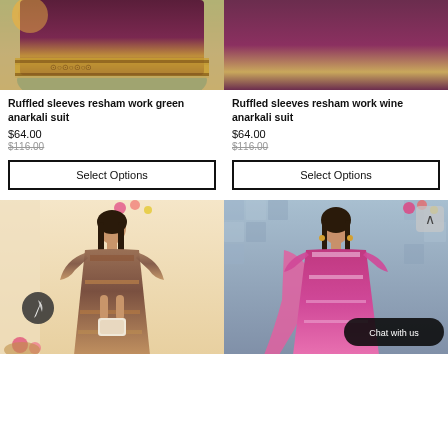[Figure (photo): Product photo of ruffled sleeves resham work green anarkali suit, showing the skirt portion with embroidered border]
Ruffled sleeves resham work green anarkali suit
$64.00
$116.00
Select Options
[Figure (photo): Product photo of ruffled sleeves resham work wine anarkali suit, showing the skirt portion with embroidered border]
Ruffled sleeves resham work wine anarkali suit
$64.00
$116.00
Select Options
[Figure (photo): Full length photo of model wearing a brown/multicolor printed anarkali floor-length suit with ruffled sleeves, holding a white clutch bag]
[Figure (photo): Full length photo of model wearing a magenta/pink heavily embroidered anarkali suit with dupatta, against a blue mosaic wall background, with Chat with us button overlay]